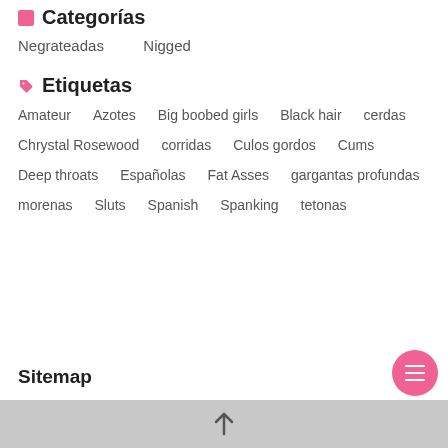Categorías
Negrateadas
Nigged
Etiquetas
Amateur
Azotes
Big boobed girls
Black hair
cerdas
Chrystal Rosewood
corridas
Culos gordos
Cums
Deep throats
Españolas
Fat Asses
gargantas profundas
morenas
Sluts
Spanish
Spanking
tetonas
Sitemap
↑